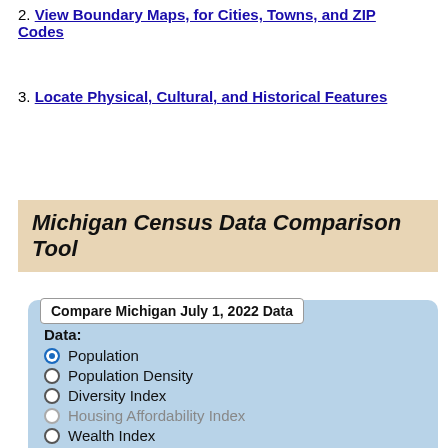2. View Boundary Maps, for Cities, Towns, and ZIP Codes
3. Locate Physical, Cultural, and Historical Features
Michigan Census Data Comparison Tool
Compare Michigan July 1, 2022 Data
Data:
Population (selected)
Population Density
Diversity Index
Housing Affordability Index
Wealth Index